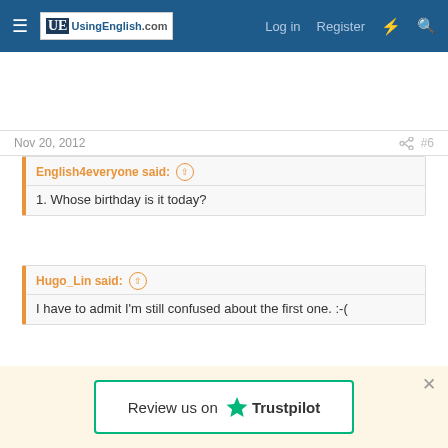UsingEnglish.com — Log in  Register
Nov 20, 2012  #6
English4everyone said: ↑
1. Whose birthday is it today?
Hugo_Lin said: ↑
I have to admit I'm still confused about the first one. :-(
Review us on ★ Trustpilot